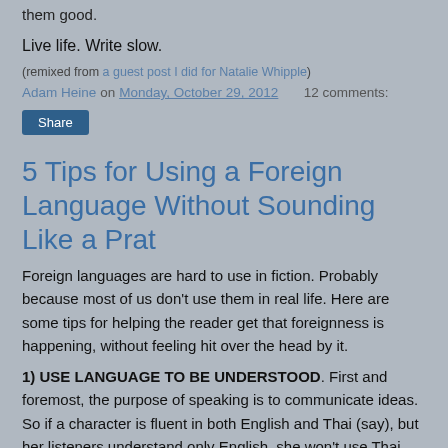them good.
Live life. Write slow.
(remixed from a guest post I did for Natalie Whipple)
Adam Heine on Monday, October 29, 2012   12 comments:
Share
5 Tips for Using a Foreign Language Without Sounding Like a Prat
Foreign languages are hard to use in fiction. Probably because most of us don't use them in real life. Here are some tips for helping the reader get that foreignness is happening, without feeling hit over the head by it.
1) USE LANGUAGE TO BE UNDERSTOOD. First and foremost, the purpose of speaking is to communicate ideas. So if a character is fluent in both English and Thai (say), but her listeners understand only English, she won't use Thai